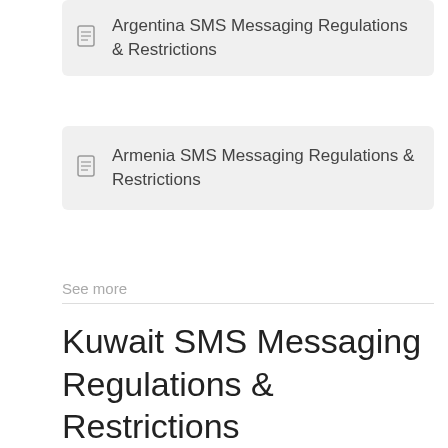Argentina SMS Messaging Regulations & Restrictions
Armenia SMS Messaging Regulations & Restrictions
See more
Kuwait SMS Messaging Regulations & Restrictions
Updated : February 21, 2019 03:06
[Figure (logo): Logo box showing '1s2u.com in Kuwait']
"Kuwait has a petroleum-based economy, petroleum is